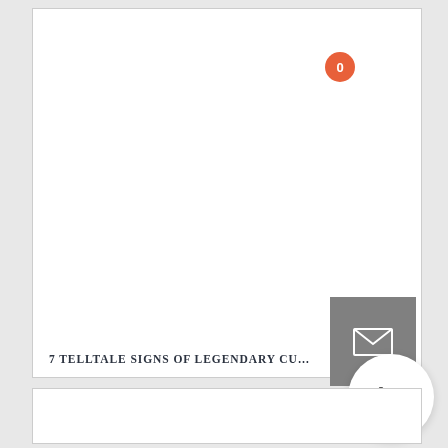[Figure (screenshot): White card/panel area, mostly blank white space representing an article or content card thumbnail area]
7 TELLTALE SIGNS OF LEGENDARY CUSTOMER SERV
[Figure (screenshot): Gray square email/envelope icon button overlaid on the card, positioned at bottom-right of top card]
[Figure (screenshot): Orange circular badge with number 0 and shopping cart icon button at bottom-right corner]
[Figure (screenshot): Second white card/panel partially visible at the bottom of the page]